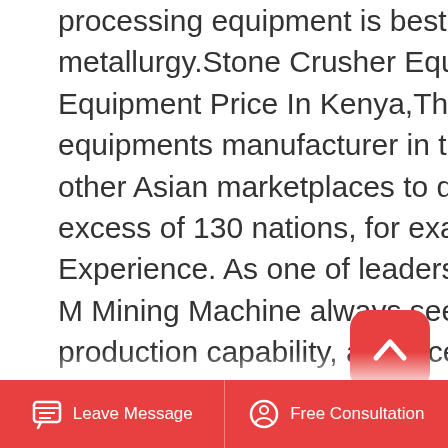processing equipment is best used in small scale extractive metallurgy.Stone Crusher Equipment Price In Kenya Stone Crusher Equipment Price In Kenya,The XSM is the professional mining equipments manufacturer in the world, located in China,India, along with other Asian marketplaces to develop and develop, now we supply in excess of 130 nations, for example Russia, Canada.30+ Years Experience. As one of leaders of global crushing and grinding industry, C M Mining Machine always seeks innovation excellence. Grasping strong production capability, advanced research strength and excellent service, C M Mining Machine create the value and bring values to all of customers. Our 1 goal is making the customer.Ball Mills  Capacity  From 0.2-90 T H Advantages Designed for long service life...
[Figure (other): Red rounded square button with white upward arrow/caret icon (scroll to top button)]
Leave Message   Free Consultation